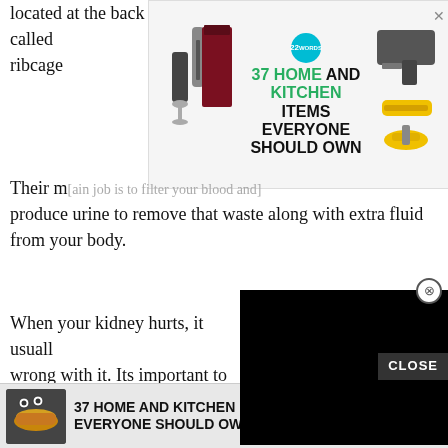located at the back of the middle of your trunk, in the area called [ad overlay] ribcage [ad overlay]
[Figure (screenshot): Advertisement banner: '37 HOME AND KITCHEN ITEMS EVERYONE SHOULD OWN' with kitchen product images and a teal '22' badge logo. Close X button top right.]
Their m[ain job is to filter your blood and] produce urine to remove that waste along with extra fluid from your body.
[Figure (screenshot): Black video overlay rectangle with close circle button (X) at top right.]
When your kidney hurts, it usuall[y means something is] wrong with it. Its important to de[termine if the pain is] coming from your kidney and or [other causes] that you receive the right treatm[ent].
Because there are muscles, bones, and other organs around your kidney, its sometimes hard to tell if its your kidney or somet[hing else. The area, intensity, a]nd locatio[n of the pain can help figure out if it] can
[Figure (screenshot): Bottom advertisement banner: '37 HOME AND KITCHEN ITEMS EVERYONE SHOULD OWN' with food image and teal '22' badge. Orange X close button. CLOSE button overlay.]